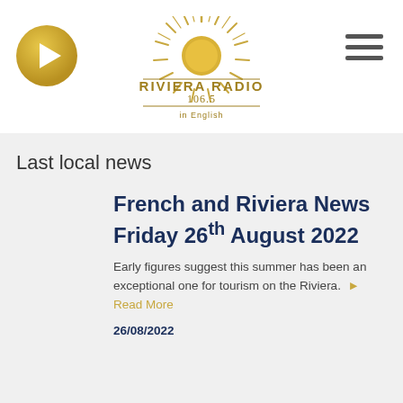[Figure (logo): Riviera Radio 106.5 in English logo with sun rays design in gold]
Last local news
French and Riviera News Friday 26th August 2022
Early figures suggest this summer has been an exceptional one for tourism on the Riviera. ▶ Read More
26/08/2022